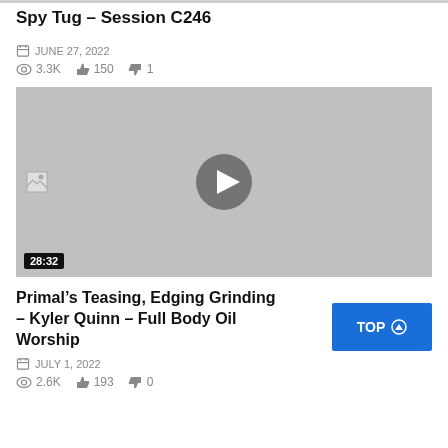Spy Tug – Session C246
JUNE 27, 2022  3.3K  150  1
[Figure (other): Video thumbnail placeholder with play button and duration 28:32]
Primal's Teasing, Edging Grinding – Kyler Quinn – Full Body Oil Worship
JULY 1, 2022  2.6K  193  0